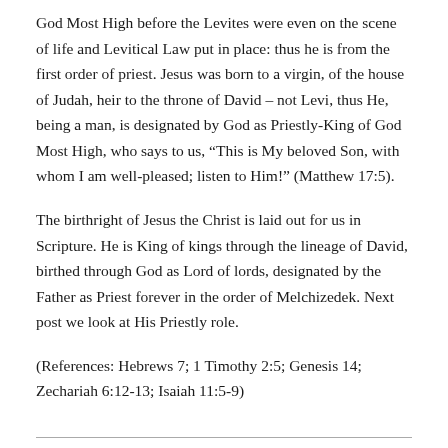God Most High before the Levites were even on the scene of life and Levitical Law put in place: thus he is from the first order of priest. Jesus was born to a virgin, of the house of Judah, heir to the throne of David – not Levi, thus He, being a man, is designated by God as Priestly-King of God Most High, who says to us, “This is My beloved Son, with whom I am well-pleased; listen to Him!” (Matthew 17:5).
The birthright of Jesus the Christ is laid out for us in Scripture. He is King of kings through the lineage of David, birthed through God as Lord of lords, designated by the Father as Priest forever in the order of Melchizedek. Next post we look at His Priestly role.
(References: Hebrews 7; 1 Timothy 2:5; Genesis 14; Zechariah 6:12-13; Isaiah 11:5-9)